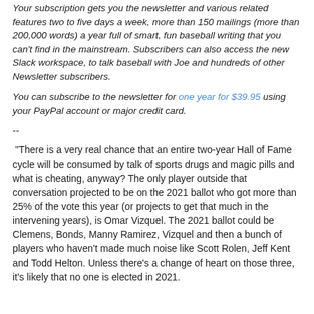Your subscription gets you the newsletter and various related features two to five days a week, more than 150 mailings (more than 200,000 words) a year full of smart, fun baseball writing that you can't find in the mainstream. Subscribers can also access the new Slack workspace, to talk baseball with Joe and hundreds of other Newsletter subscribers.
You can subscribe to the newsletter for one year for $39.95 using your PayPal account or major credit card.
--
"There is a very real chance that an entire two-year Hall of Fame cycle will be consumed by talk of sports drugs and magic pills and what is cheating, anyway? The only player outside that conversation projected to be on the 2021 ballot who got more than 25% of the vote this year (or projects to get that much in the intervening years), is Omar Vizquel. The 2021 ballot could be Clemens, Bonds, Manny Ramirez, Vizquel and then a bunch of players who haven't made much noise like Scott Rolen, Jeff Kent and Todd Helton. Unless there's a change of heart on those three, it's likely that no one is elected in 2021.